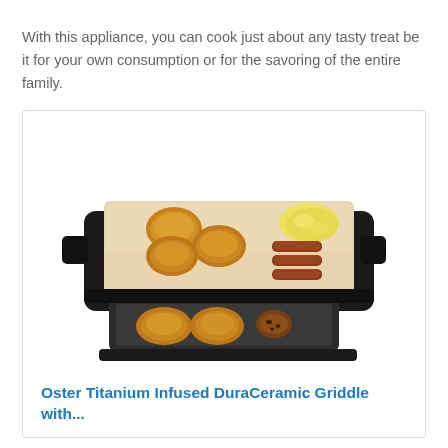With this appliance, you can cook just about any tasty treat be it for your own consumption or for the savoring of the entire family.
[Figure (photo): Photo of an Oster Titanium Infused DuraCeramic Griddle showing pancakes, scrambled eggs, sausage links on main cooking surface and pancakes with cookies on a warming tray below.]
Oster Titanium Infused DuraCeramic Griddle with...